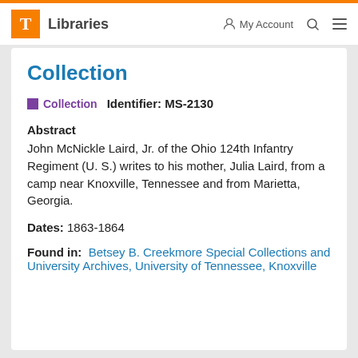T Libraries   My Account   Search   Menu
Collection
Collection   Identifier: MS-2130
Abstract
John McNickle Laird, Jr. of the Ohio 124th Infantry Regiment (U. S.) writes to his mother, Julia Laird, from a camp near Knoxville, Tennessee and from Marietta, Georgia.
Dates: 1863-1864
Found in: Betsey B. Creekmore Special Collections and University Archives, University of Tennessee, Knoxville